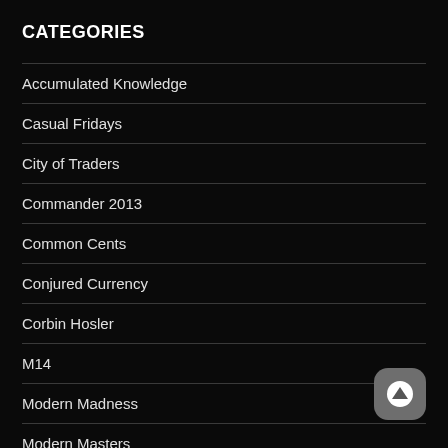CATEGORIES
Accumulated Knowledge
Casual Fridays
City of Traders
Commander 2013
Common Cents
Conjured Currency
Corbin Hosler
M14
Modern Madness
Modern Masters